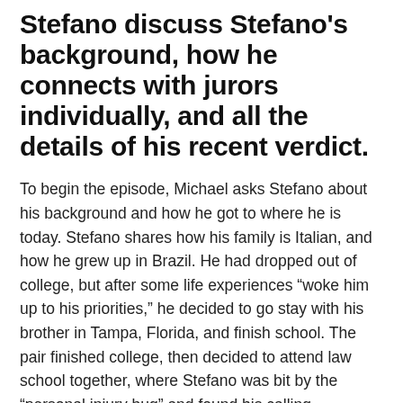Stefano discuss Stefano's background, how he connects with jurors individually, and all the details of his recent verdict.
To begin the episode, Michael asks Stefano about his background and how he got to where he is today. Stefano shares how his family is Italian, and how he grew up in Brazil. He had dropped out of college, but after some life experiences “woke him up to his priorities,” he decided to go stay with his brother in Tampa, Florida, and finish school. The pair finished college, then decided to attend law school together, where Stefano was bit by the “personal injury bug” and found his calling.